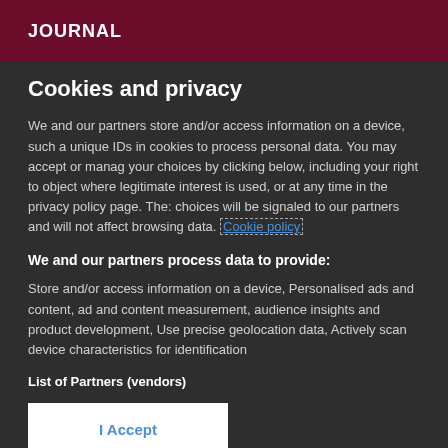JOURNAL
Cookies and privacy
We and our partners store and/or access information on a device, such a unique IDs in cookies to process personal data. You may accept or manage your choices by clicking below, including your right to object where legitimate interest is used, or at any time in the privacy policy page. These choices will be signaled to our partners and will not affect browsing data. Cookie policy
We and our partners process data to provide:
Store and/or access information on a device, Personalised ads and content, ad and content measurement, audience insights and product development, Use precise geolocation data, Actively scan device characteristics for identification
List of Partners (vendors)
I Accept